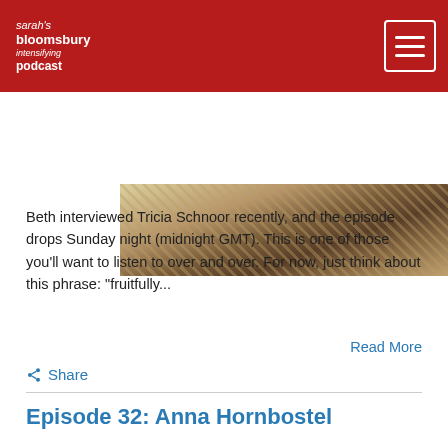sarah's bloomsbury intensifying podcast
[Figure (photo): Outdoor nature scene with wood shavings, debris and a small animal on the ground]
Beth interviewed Tricia Schnoor recently, and the episode drops Sunday night (midnight GMT). This is one of those you'll want to listen to over and over. For now, just think about this phrase: "fruitfully...
Read More
Share
Episode 32: Anna Hornbostel